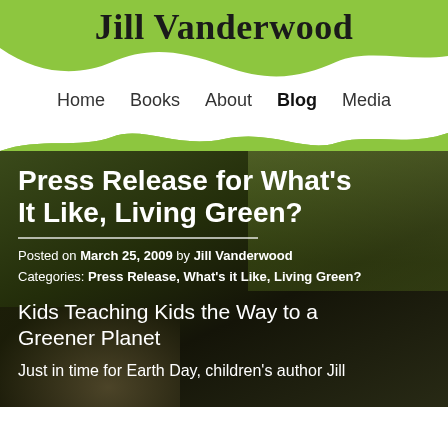Jill Vanderwood
Home  Books  About  Blog  Media
[Figure (photo): Dark outdoor photo of a person smiling, with green trees in background, serving as hero background image]
Press Release for What's It Like, Living Green?
Posted on March 25, 2009 by Jill Vanderwood
Categories: Press Release, What's it Like, Living Green?
Kids Teaching Kids the Way to a Greener Planet
Just in time for Earth Day, children's author Jill